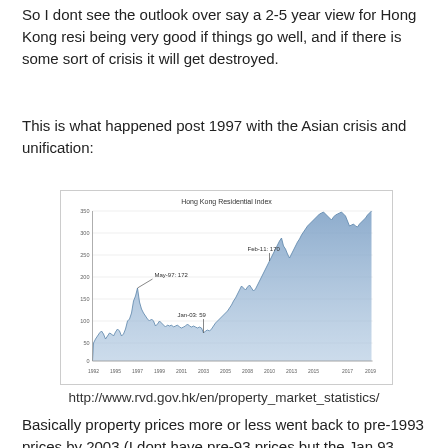So I dont see the outlook over say a 2-5 year view for Hong Kong resi being very good if things go well, and if there is some sort of crisis it will get destroyed.
This is what happened post 1997 with the Asian crisis and unification:
[Figure (area-chart): Area chart showing Hong Kong Residential Index from approximately 1992 to 2015. Annotations: May-97: 172, Jan-03: 59, Feb-11: 170. The chart shows a peak around 1997, a trough around 2003, and a strong upward trend thereafter reaching new highs.]
http://www.rvd.gov.hk/en/property_market_statistics/
Basically property prices more or less went back to pre-1993 prices by 2003 (I dont have pre-93 prices but the Jan 93 index was 84 and the market bottomed out in the 60's), ie